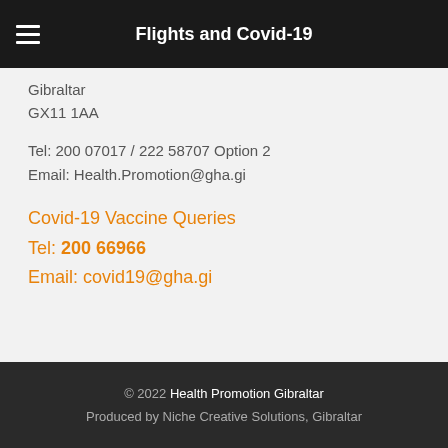Flights and Covid-19
Gibraltar
GX11 1AA
Tel: 200 07017 / 222 58707 Option 2
Email: Health.Promotion@gha.gi
Covid-19 Vaccine Queries
Tel: 200 66966
Email: covid19@gha.gi
© 2022 Health Promotion Gibraltar
Produced by Niche Creative Solutions, Gibraltar